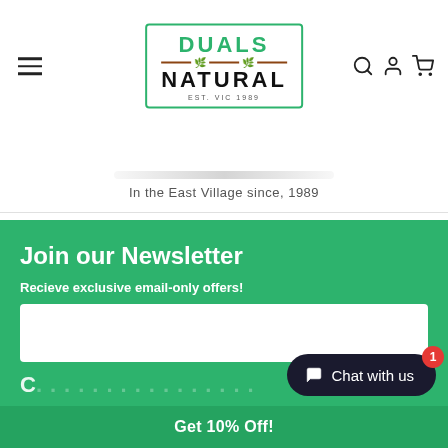[Figure (logo): Duals Natural logo with green border, green text DUALS, black text NATURAL, EST. VIC 1989, decorative divider with leaves]
In the East Village since, 1989
Join our Newsletter
Recieve exclusive email-only offers!
Get 10% Off!